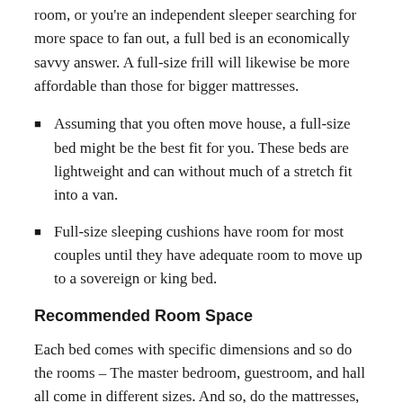room, or you're an independent sleeper searching for more space to fan out, a full bed is an economically savvy answer. A full-size frill will likewise be more affordable than those for bigger mattresses.
Assuming that you often move house, a full-size bed might be the best fit for you. These beds are lightweight and can without much of a stretch fit into a van.
Full-size sleeping cushions have room for most couples until they have adequate room to move up to a sovereign or king bed.
Recommended Room Space
Each bed comes with specific dimensions and so do the rooms – The master bedroom, guestroom, and hall all come in different sizes. And so, do the mattresses, to suit the room dimensions and to have a proper fit of the bed.